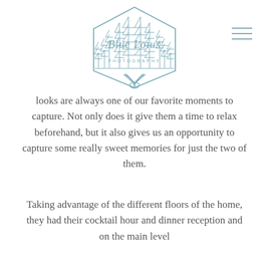[Figure (logo): Blue Lotus Photography logo — hexagonal badge with illustrated pine trees, a lotus flower at the bottom, and cursive 'Blue Lotus' text with 'PHOTOGRAPHY' below, in muted teal/steel blue line art]
looks are always one of our favorite moments to capture. Not only does it give them a time to relax beforehand, but it also gives us an opportunity to capture some really sweet memories for just the two of them.
Taking advantage of the different floors of the home, they had their cocktail hour and dinner reception and on the main level